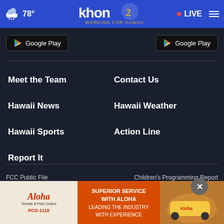78° KHON2 Working for Hawaii — LIVE
[Figure (screenshot): Two Google Play store download buttons]
Meet the Team
Contact Us
Hawaii News
Hawaii Weather
Hawaii Sports
Action Line
Report It
FCC Public File
Children's Programming Report
EEO Report
Careers
[Figure (photo): Aloha Termite & Pest Control advertisement banner — Superior Service With Aloha, Leading the Industry with Experience, PCO-1118]